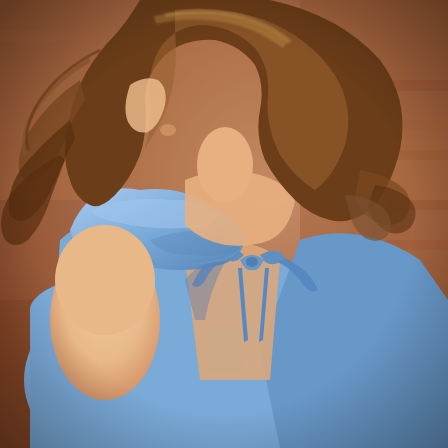[Figure (photo): Close-up photograph of a woman from behind/side showing her shoulder and upper back. She is wearing a light periwinkle/cornflower blue top with a ruffled flutter sleeve cap detail and an open back with tie straps at the center back. Her brown wavy hair is visible. The background is a warm terracotta/brick-brown color.]